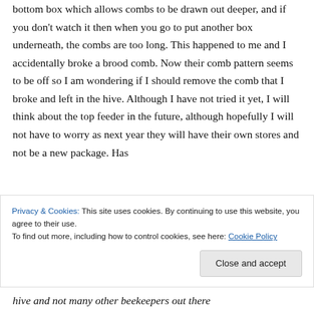bottom box which allows combs to be drawn out deeper, and if you don't watch it then when you go to put another box underneath, the combs are too long. This happened to me and I accidentally broke a brood comb. Now their comb pattern seems to be off so I am wondering if I should remove the comb that I broke and left in the hive. Although I have not tried it yet, I will think about the top feeder in the future, although hopefully I will not have to worry as next year they will have their own stores and not be a new package. Has
Privacy & Cookies: This site uses cookies. By continuing to use this website, you agree to their use.
To find out more, including how to control cookies, see here: Cookie Policy
Close and accept
hive and not many other beekeepers out there